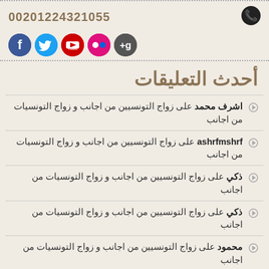00201224321055
[Figure (logo): Social media icons: Google+, Flickr, YouTube, Twitter, Facebook]
أحدث التعليقات
اشرف محمد على زواج التونسيين من اجانب و زواج التونسيات من اجانب
ashrfmshrf على زواج التونسيين من اجانب و زواج التونسيات من اجانب
ذكي على زواج التونسيين من اجانب و زواج التونسيات من اجانب
ذكي على زواج التونسيين من اجانب و زواج التونسيات من اجانب
محمود على زواج التونسيين من اجانب و زواج التونسيات من اجانب